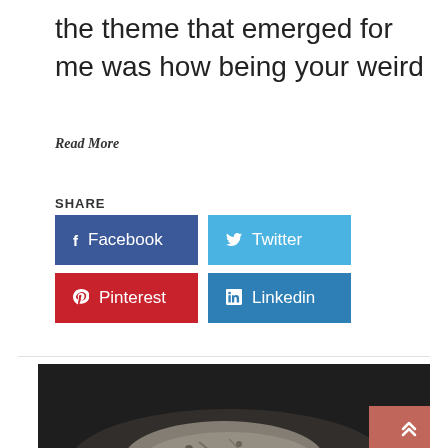the theme that emerged for me was how being your weird
Read More
SHARE
[Figure (infographic): Social share buttons: Facebook (dark blue), Twitter (light blue), Pinterest (red), Linkedin (medium blue)]
[Figure (photo): Dark sepia-toned photograph showing a stone or rock surface, partially visible at bottom of page]